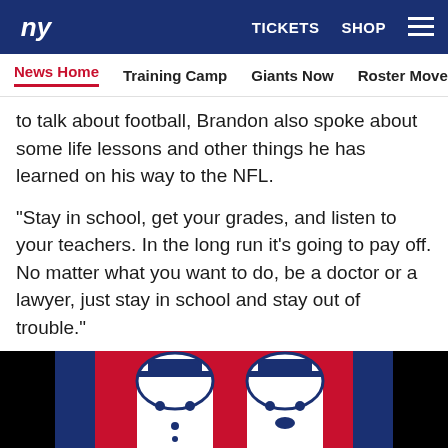NY Giants — TICKETS  SHOP  ☰
News Home   Training Camp   Giants Now   Roster Moves   Fact o
to talk about football, Brandon also spoke about some life lessons and other things he has learned on his way to the NFL.
"Stay in school, get your grades, and listen to your teachers. In the long run it's going to pay off. No matter what you want to do, be a doctor or a lawyer, just stay in school and stay out of trouble."
[Figure (illustration): Close-up illustration of cartoon mascot characters in blue, red, and white NY Giants colors]
Social share icons: Facebook, Twitter, Email, Link